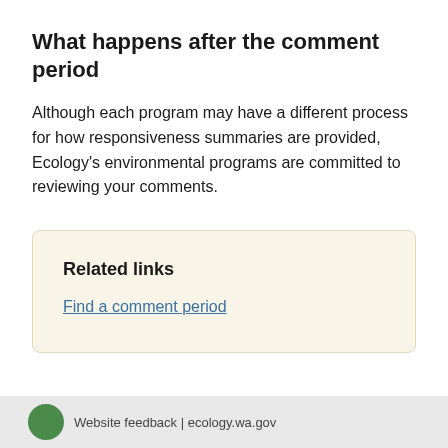What happens after the comment period
Although each program may have a different process for how responsiveness summaries are provided, Ecology's environmental programs are committed to reviewing your comments.
Related links
Find a comment period
Website feedback | ecology.wa.gov